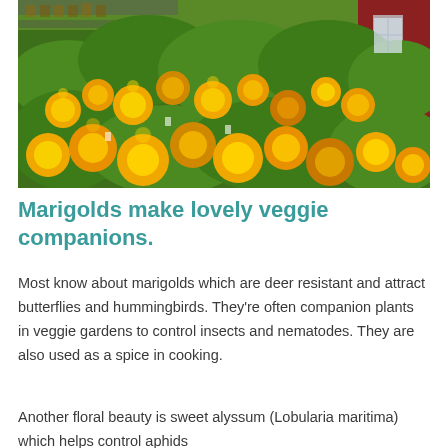[Figure (photo): Photograph of a large display of marigold flowers with bright yellow and orange blooms surrounded by green foliage, with a red barn structure visible in the background.]
Marigolds make lovely veggie companions.
Most know about marigolds which are deer resistant and attract butterflies and hummingbirds. They're often companion plants in veggie gardens to control insects and nematodes. They are also used as a spice in cooking.
Another floral beauty is sweet alyssum (Lobularia maritima) which helps control aphids